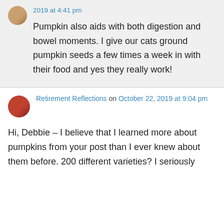2019 at 4:41 pm
Pumpkin also aids with both digestion and bowel moments. I give our cats ground pumpkin seeds a few times a week in with their food and yes they really work!
Retirement Reflections on October 22, 2019 at 9:04 pm
Hi, Debbie – I believe that I learned more about pumpkins from your post than I ever knew about them before. 200 different varieties? I seriously